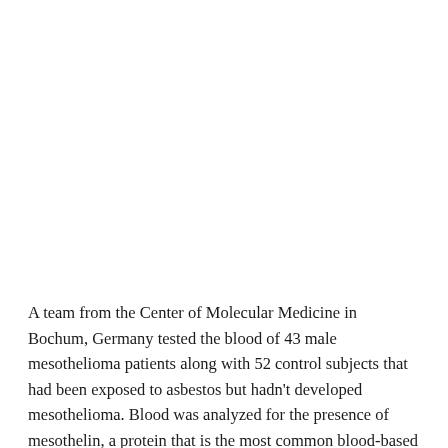A team from the Center of Molecular Medicine in Bochum, Germany tested the blood of 43 male mesothelioma patients along with 52 control subjects that had been exposed to asbestos but hadn't developed mesothelioma. Blood was analyzed for the presence of mesothelin, a protein that is the most common blood-based mesothelioma biomarker, and miR-103a-3p, a microRNA gene. When the team